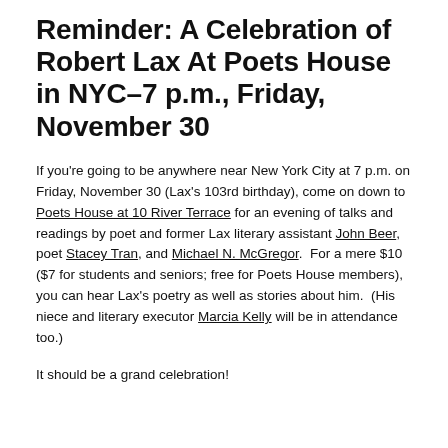Reminder: A Celebration of Robert Lax At Poets House in NYC–7 p.m., Friday, November 30
If you're going to be anywhere near New York City at 7 p.m. on Friday, November 30 (Lax's 103rd birthday), come on down to Poets House at 10 River Terrace for an evening of talks and readings by poet and former Lax literary assistant John Beer, poet Stacey Tran, and Michael N. McGregor.  For a mere $10 ($7 for students and seniors; free for Poets House members), you can hear Lax's poetry as well as stories about him.  (His niece and literary executor Marcia Kelly will be in attendance too.)
It should be a grand celebration!